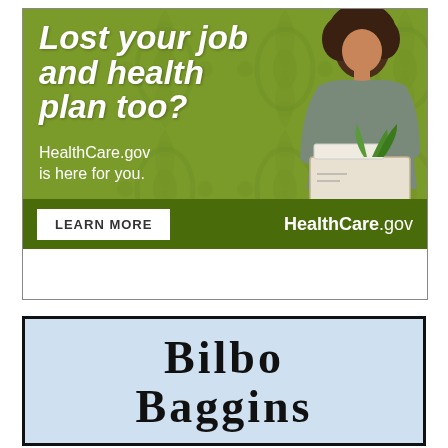[Figure (infographic): HealthCare.gov advertisement banner showing a woman holding a box of office belongings against a green damask patterned background. Text reads 'Lost your job and health plan too? HealthCare.gov is here for you.' with a dark green bottom bar containing a 'LEARN MORE' button and 'HealthCare.gov' text.]
[Figure (infographic): Advertisement banner with light blue background and black border displaying 'Bilbo Baggins' in large serif font.]